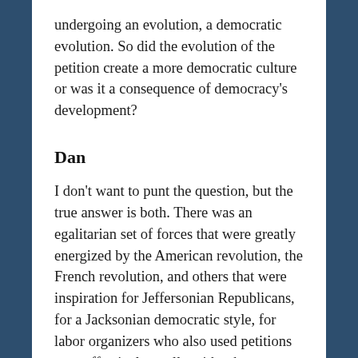undergoing an evolution, a democratic evolution. So did the evolution of the petition create a more democratic culture or was it a consequence of democracy's development?
Dan
I don't want to punt the question, but the true answer is both. There was an egalitarian set of forces that were greatly energized by the American revolution, the French revolution, and others that were inspiration for Jeffersonian Republicans, for a Jacksonian democratic style, for labor organizers who also used petitions very effectively to ally with other producers. All of these very important developments relied at some level on what was small D democratic about our culture. And yet, so many of these egalitarian notions were suppressed